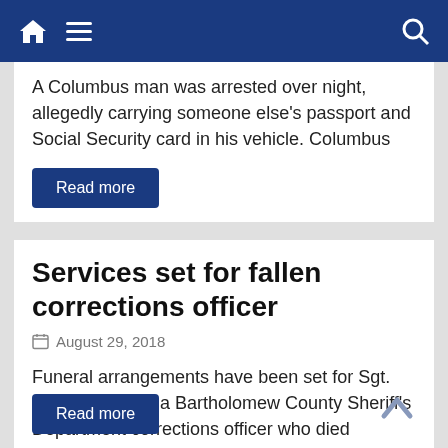Navigation bar with home, menu, and search icons
A Columbus man was arrested over night, allegedly carrying someone else's passport and Social Security card in his vehicle. Columbus
Read more
Services set for fallen corrections officer
August 29, 2018
Funeral arrangements have been set for Sgt. Grover Crouch, a Bartholomew County Sheriff's Department corrections officer who died unexpectedly Monday
Read more